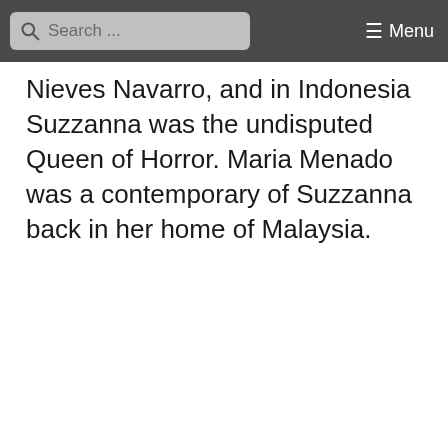Search ... Menu
Nieves Navarro, and in Indonesia Suzzanna was the undisputed Queen of Horror. Maria Menado was a contemporary of Suzzanna back in her home of Malaysia.